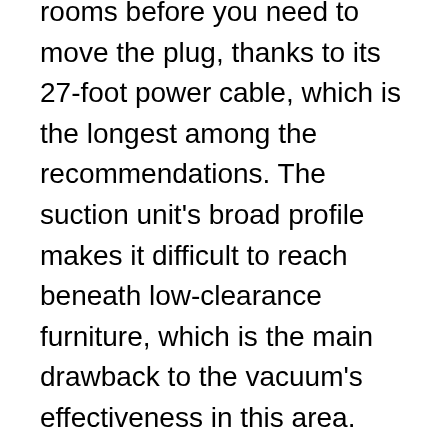This vacuum will travel through numerous rooms before you need to move the plug, thanks to its 27-foot power cable, which is the longest among the recommendations. The suction unit's broad profile makes it difficult to reach beneath low-clearance furniture, which is the main drawback to the vacuum's effectiveness in this area.
User feedback
According to one customer, this vacuum cleaner looks great in a coat closet full of other items. It doesn't, however, compromise on suction power. All sorts of dirt and dust are